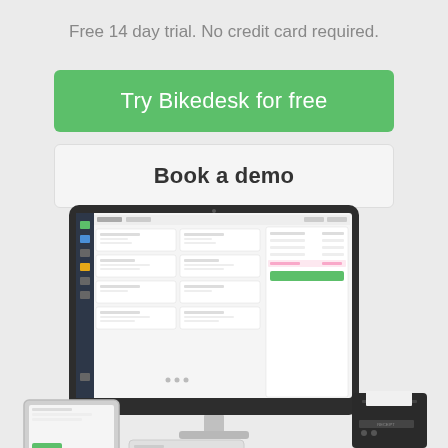Free 14 day trial. No credit card required.
Try Bikedesk for free
Book a demo
[Figure (screenshot): Screenshot of Bikedesk POS software on a desktop monitor, with a tablet and receipt printer in the foreground]